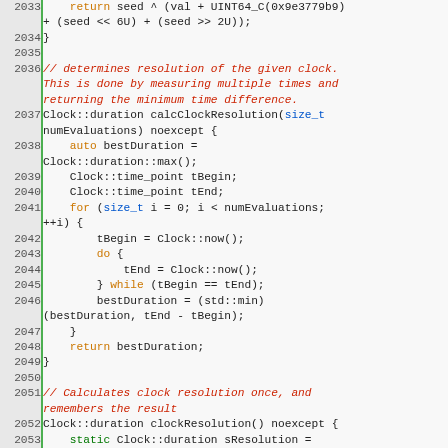[Figure (screenshot): Source code listing in C++ with syntax highlighting, line numbers 2033-2058, showing hash seed function, calcClockResolution function, and clockResolution function, and start of ANKERL_NANOBENCH macro usage.]